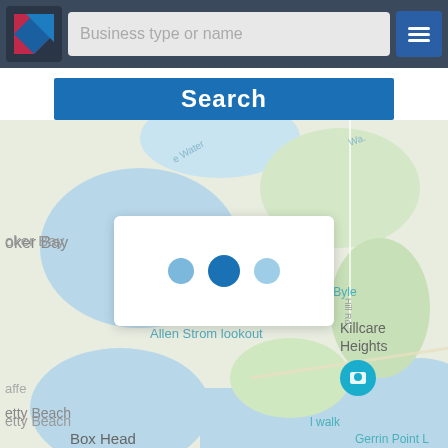[Figure (screenshot): Mobile app navigation bar with logo, search input placeholder 'Business type or name', and hamburger menu button]
Business type or name
Search
[Figure (map): Google Maps view showing coastal area with Booker Bay, Allen Strom lookout, Marie Byle, Killcare Heights, Gerrin Point, Box Head, Betty Beach locations]
[Figure (other): Loading indicator with three dots (light blue, dark blue, pale blue) on white card overlay]